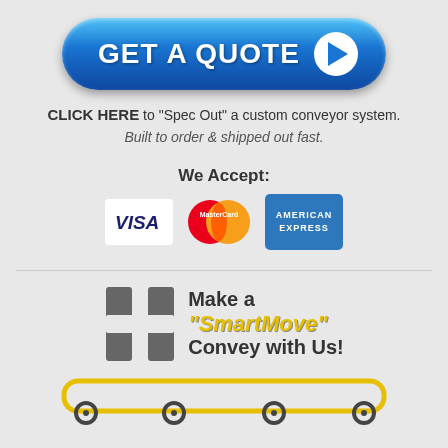[Figure (illustration): Blue rounded 'GET A QUOTE' button with play arrow circle icon]
CLICK HERE to "Spec Out" a custom conveyor system. Built to order & shipped out fast.
We Accept:
[Figure (illustration): Payment logos: Visa, MasterCard, American Express]
[Figure (logo): SmartMove logo with conveyor belt graphic: Make a "SmartMove" Convey with Us!]